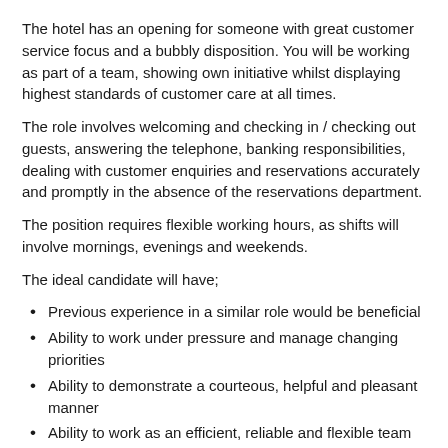The hotel has an opening for someone with great customer service focus and a bubbly disposition. You will be working as part of a team, showing own initiative whilst displaying highest standards of customer care at all times.
The role involves welcoming and checking in / checking out guests, answering the telephone, banking responsibilities, dealing with customer enquiries and reservations accurately and promptly in the absence of the reservations department.
The position requires flexible working hours, as shifts will involve mornings, evenings and weekends.
The ideal candidate will have;
Previous experience in a similar role would be beneficial
Ability to work under pressure and manage changing priorities
Ability to demonstrate a courteous, helpful and pleasant manner
Ability to work as an efficient, reliable and flexible team member